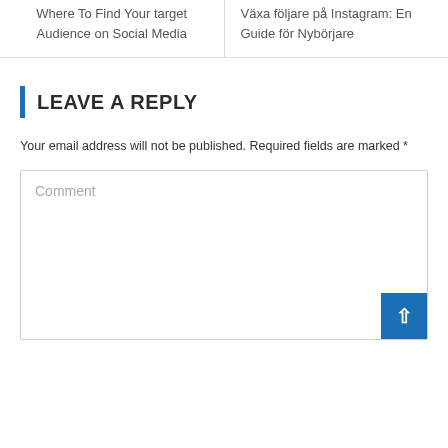Where To Find Your target Audience on Social Media
Växa följare på Instagram: En Guide för Nybörjare
LEAVE A REPLY
Your email address will not be published. Required fields are marked *
Comment